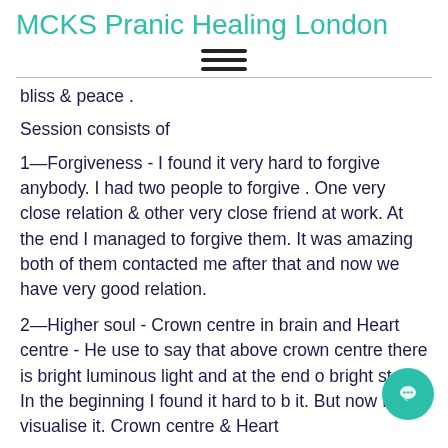MCKS Pranic Healing London
bliss & peace .
Session consists of
1—Forgiveness - I found it very hard to forgive anybody. I had two people to forgive . One very close relation & other very close friend at work. At the end I managed to forgive them. It was amazing both of them contacted me after that and now we have very good relation.
2—Higher soul - Crown centre in brain and Heart centre - He use to say that above crown centre there is bright luminous light and at the end o bright star. In the beginning I found it hard to b it. But now I can visualise it. Crown centre & Heart